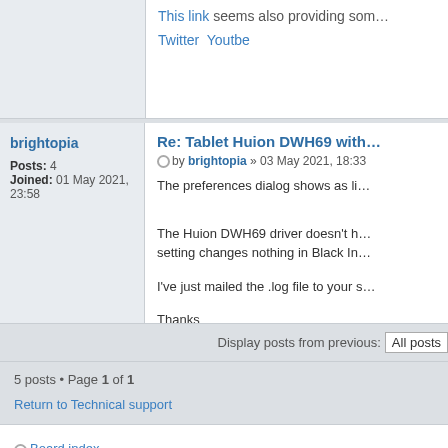This link seems also providing som...
Twitter  Youtbe
brightopia
Posts: 4
Joined: 01 May 2021, 23:58
Re: Tablet Huion DWH69 with...
by brightopia » 03 May 2021, 18:33
The preferences dialog shows as li...
The Huion DWH69 driver doesn't h... setting changes nothing in Black In...
I've just mailed the .log file to your s...
Thanks
Display posts from previous:  All posts
5 posts • Page 1 of 1
Return to Technical support
Board index